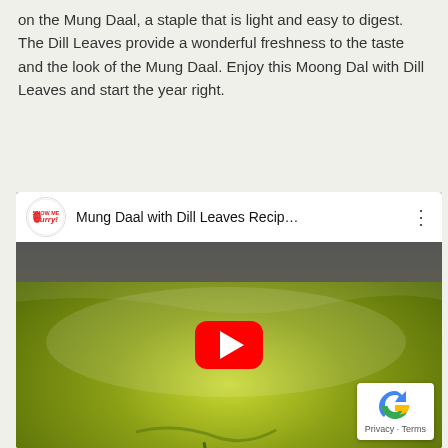on the Mung Daal, a staple that is light and easy to digest. The Dill Leaves provide a wonderful freshness to the taste and the look of the Mung Daal. Enjoy this Moong Dal with Dill Leaves and start the year right.
[Figure (screenshot): Embedded YouTube video player showing 'Mung Daal with Dill Leaves Recip...' from Show Me Curry channel, with a thumbnail image of green mung daal in a white bowl, a red YouTube play button in the center, and a reCAPTCHA badge in the bottom right corner.]